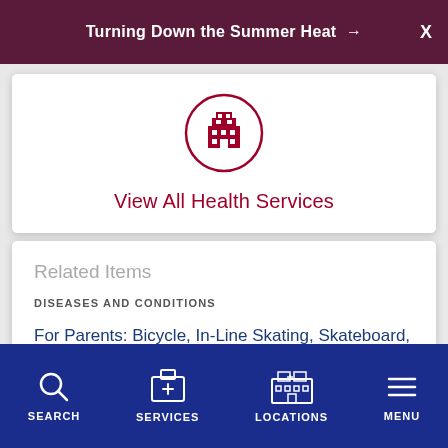Turning Down the Summer Heat →  X
[Figure (illustration): Hospital/building icon inside a circle, dark red color]
View All Health Services
Related Items
DISEASES AND CONDITIONS
For Parents: Bicycle, In-Line Skating, Skateboard, and Scooter Safety
SEARCH   SERVICES   LOCATIONS   MENU